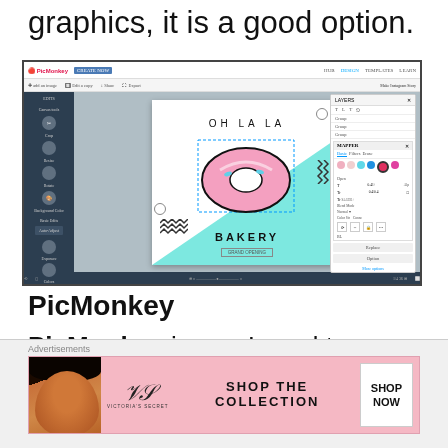graphics, it is a good option.
[Figure (screenshot): PicMonkey graphic design tool interface showing a bakery grand opening design with 'OH LA LA BAKERY' text and a donut graphic, with layers and color picker panels visible]
PicMonkey
PicMonkey is one I used to use a lot when I started blogging. It also has
Advertisements
[Figure (photo): Victoria's Secret advertisement banner with a model, VS logo, 'SHOP THE COLLECTION' text, and 'SHOP NOW' button]